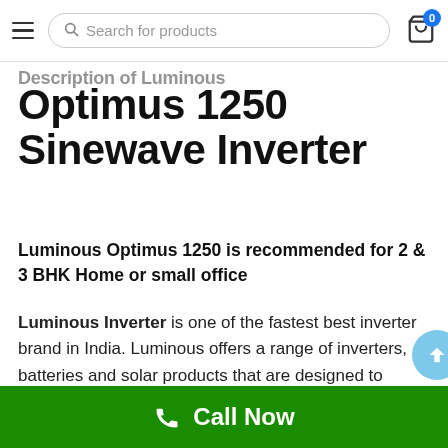Search for products
Optimus 1250 Sinewave Inverter
Luminous Optimus 1250 is recommended for 2 & 3 BHK Home or small office
Luminous Inverter is one of the fastest best inverter brand in India. Luminous offers a range of inverters, batteries and solar products that are designed to withstand long and frequent power cuts. Luminous is the most reputable brand in India, according to
Call Now